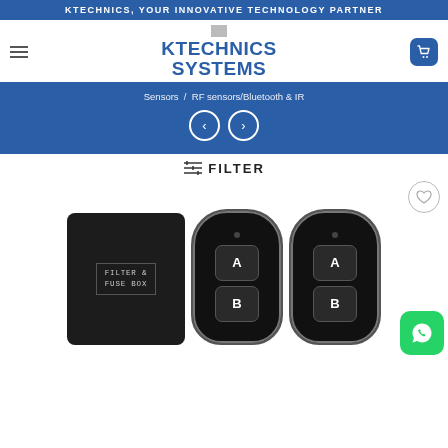KTECHNICS, YOUR INNOVATIVE TECHNOLOGY PARTNER
KTECHNICS SYSTEMS
Sensors / RF sensors/Bluetooth & IR
FILTER
[Figure (photo): Product images: a black filter & fuse box module, and two black 2-button (A/B) RF remote controls side by side, plus a WhatsApp chat button in the bottom right corner.]